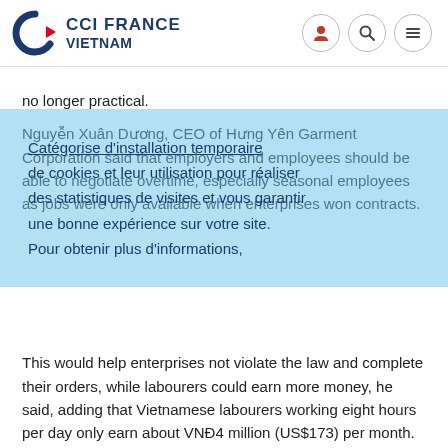CCI FRANCE VIETNAM
no longer practical.
Nguyễn Xuân Dương, CEO of Hưng Yên Garment Corporation said that employers and employees should be able to negotiate overtime, especially seasonal employees as jobs were only available when enterprises won contracts.
This would help enterprises not violate the law and complete their orders, while labourers could earn more money, he said, adding that Vietnamese labourers working eight hours per day only earn about VNĐ4 million (US$173) per month.
Chu Văn An, deputy director of Minh Phú Aquaculture Corporation said that enterprises had to pay at least 150 per cent of labourers' wages on week days and up to 300 per cent of wages on holidays. Thus, they only